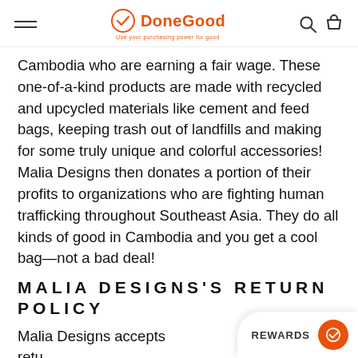DoneGood — Use your purchasing power for good
Cambodia who are earning a fair wage. These one-of-a-kind products are made with recycled and upcycled materials like cement and feed bags, keeping trash out of landfills and making for some truly unique and colorful accessories! Malia Designs then donates a portion of their profits to organizations who are fighting human trafficking throughout Southeast Asia. They do all kinds of good in Cambodia and you get a cool bag—not a bad deal!
MALIA DESIGNS'S RETURN POLICY
Malia Designs accepts retu... defective merchandise for fu... refund or